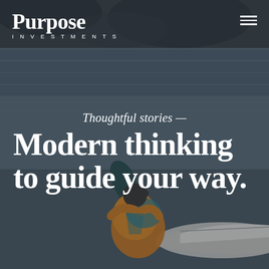[Figure (photo): Background photo of a person in an orange life jacket sitting in a kayak on calm, dark water. The scene is moody and muted with grey-blue tones. The kayaker is viewed from behind. The top portion shows a reflective water surface.]
Purpose INVESTMENTS
Thoughtful stories —
Modern thinking to guide your way.